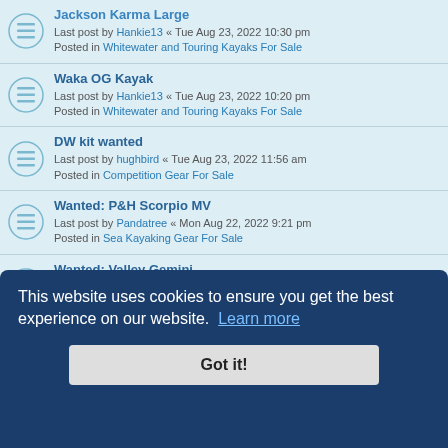Jackson Karma Large - Last post by Hankie13 « Tue Aug 23, 2022 10:30 pm - Posted in Whitewater and Touring Kayaks For Sale
Waka OG Kayak - Last post by Hankie13 « Tue Aug 23, 2022 10:20 pm - Posted in Whitewater and Touring Kayaks For Sale
DW kit wanted - Last post by hughbird « Tue Aug 23, 2022 11:56 am - Posted in Competition Gear For Sale
Wanted: P&H Scorpio MV - Last post by Pandatree « Mon Aug 22, 2022 9:21 pm - Posted in Sea Kayaking Gear For Sale
Wanted: Valley Gemini - Last post by Rebjc « Mon Aug 22, 2022 3:57 pm - Posted in Sea Kayaking Gear For Sale
wanted kayak erg - Last post by mnunn2 « Sat Aug 20, 2022 9:28 pm - Posted in Competition Gear For Sale
Launching/landing fees for kayaks at Seahouses. - Last post by Sean_soup « Sat Aug 20, 2022 5:17 pm
This website uses cookies to ensure you get the best experience on our website. Learn more
Got it!